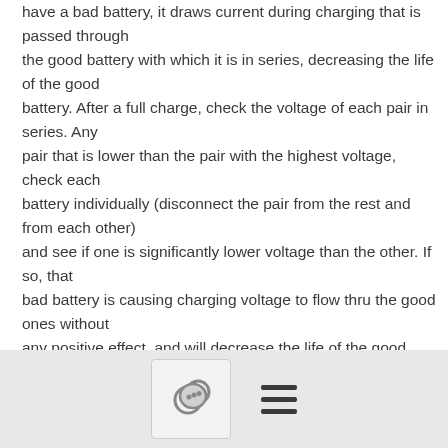have a bad battery, it draws current during charging that is passed through the good battery with which it is in series, decreasing the life of the good battery. After a full charge, check the voltage of each pair in series. Any pair that is lower than the pair with the highest voltage, check each battery individually (disconnect the pair from the rest and from each other) and see if one is significantly lower voltage than the other. If so, that bad battery is causing charging voltage to flow thru the good ones without any positive effect, and will decrease the life of the good ones you still have. If you have two bad ones, disconnect them and put the good ones in pairs until you can replace the bad ones. It will decrease your
[Figure (other): Footer bar with a comment/chat icon button and a hamburger menu icon]